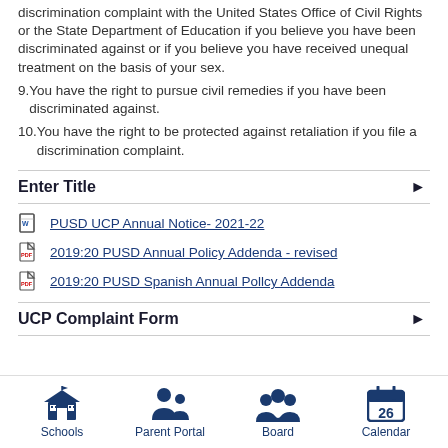discrimination complaint with the United States Office of Civil Rights or the State Department of Education if you believe you have been discriminated against or if you believe you have received unequal treatment on the basis of your sex.
9. You have the right to pursue civil remedies if you have been discriminated against.
10. You have the right to be protected against retaliation if you file a discrimination complaint.
Enter Title
PUSD UCP Annual Notice- 2021-22
2019:20 PUSD Annual Policy Addenda - revised
2019:20 PUSD Spanish Annual Pollcy Addenda
UCP Complaint Form
Schools | Parent Portal | Board | Calendar